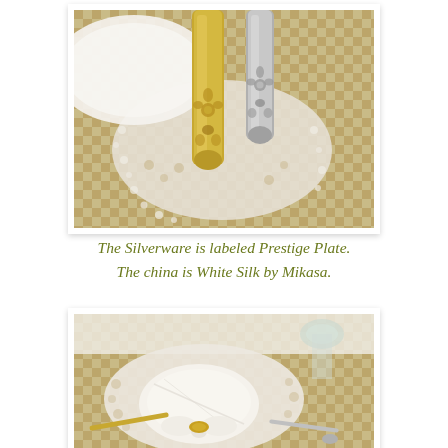[Figure (photo): Close-up photo of ornate silverware handles (Prestige Plate) showing detailed floral and scroll engravings, one gold-toned and one silver-toned, laid on a white lace doily over a beige checkered tablecloth with a white plate visible in the background.]
The Silverware is labeled Prestige Plate. The china is White Silk by Mikasa.
[Figure (photo): Photo of a table setting showing a white folded napkin with a gold napkin ring on a white lace doily, placed on a beige checkered placemat, with gold-toned silverware and a glass visible in the background.]